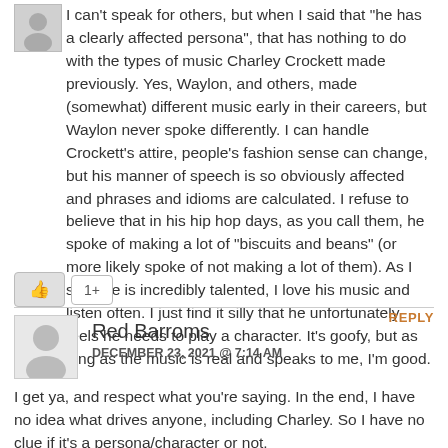I can't speak for others, but when I said that "he has a clearly affected persona", that has nothing to do with the types of music Charley Crockett made previously. Yes, Waylon, and others, made (somewhat) different music early in their careers, but Waylon never spoke differently. I can handle Crockett's attire, people's fashion sense can change, but his manner of speech is so obviously affected and phrases and idioms are calculated. I refuse to believe that in his hip hop days, as you call them, he spoke of making a lot of "biscuits and beans" (or more likely spoke of not making a lot of them). As I said, he is incredibly talented, I love his music and listen often. I just find it silly that he unfortunately feels he needs to play a character. It's goofy, but as long as the music is real and speaks to me, I'm good.
1+
Red Barroms
DECEMBER 23, 2021 @ 7:14 AM
REPLY
I get ya, and respect what you're saying. In the end, I have no idea what drives anyone, including Charley. So I have no clue if it's a persona/character or not.